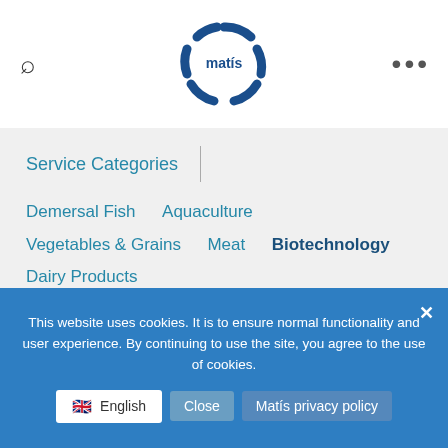[Figure (logo): Matis logo — circular blue segmented ring with 'matís' text in the center]
Service Categories
Demersal Fish
Aquaculture
Vegetables & Grains
Meat
Biotechnology
Dairy Products
Innovation, Entrepreneurs & Educational Institutions
Administration
Environmental Research
This website uses cookies. It is to ensure normal functionality and user experience. By continuing to use the site, you agree to the use of cookies.
Close   Matis privacy policy